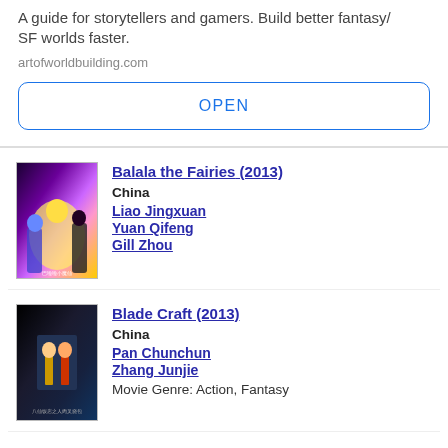A guide for storytellers and gamers. Build better fantasy/SF worlds faster.
artofworldbuilding.com
OPEN
Balala the Fairies (2013)
China
Liao Jingxuan
Yuan Qifeng
Gill Zhou
Blade Craft (2013)
China
Pan Chunchun
Zhang Junjie
Movie Genre: Action, Fantasy